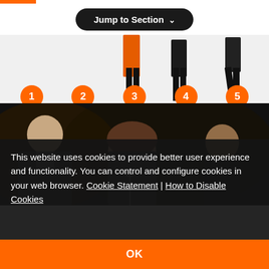[Figure (screenshot): Jump to Section dropdown navigation button, dark rounded pill shape with white text and chevron]
[Figure (photo): Cropped legs of five performers/dancers in various costumes (orange tutu, black suits) with numbered orange circles 1-5 below them]
[Figure (photo): Orchestra musicians performing in dark setting, with an orange rectangular frame overlay highlighting a female musician in the center]
This website uses cookies to provide better user experience and functionality. You can control and configure cookies in your web browser. Cookie Statement | How to Disable Cookies
OK